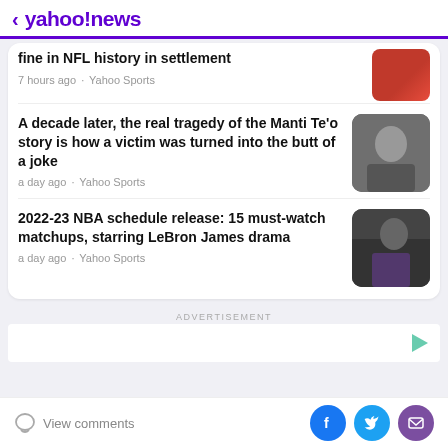< yahoo!news
fine in NFL history in settlement
7 hours ago · Yahoo Sports
A decade later, the real tragedy of the Manti Te'o story is how a victim was turned into the butt of a joke
a day ago · Yahoo Sports
2022-23 NBA schedule release: 15 must-watch matchups, starring LeBron James drama
a day ago · Yahoo Sports
ADVERTISEMENT
View comments